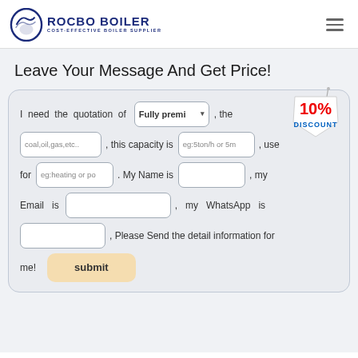[Figure (logo): Rocbo Boiler logo with circular icon and text 'ROCBO BOILER COST-EFFECTIVE BOILER SUPPLIER']
Leave Your Message And Get Price!
I need the quotation of [Fully premi dropdown], the fuel is [coal,oil,gas,etc..], this capacity is [eg:5ton/h or 5m], use for [eg:heating or po]. My Name is [], my Email is [], my WhatsApp is [], Please Send the detail information for me!
[Figure (other): 10% DISCOUNT badge/sticker in red and blue]